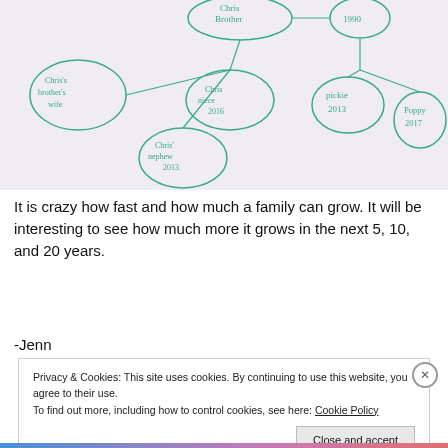[Figure (illustration): Hand-drawn family tree diagram on white paper with teal/green ink. Oval nodes connected by lines showing family relationships: 'Chris Brother' at top center, '1990' top right, 'Chris's Brother's Wife' left, 'Chris niece 2016' center, 'Chris's nephew 2013' lower center-left, 'Pickie 2013' right, 'Poppy 2017' far right.]
It is crazy how fast and how much a family can grow. It will be interesting to see how much more it grows in the next 5, 10, and 20 years.
-Jenn
Privacy & Cookies: This site uses cookies. By continuing to use this website, you agree to their use.
To find out more, including how to control cookies, see here: Cookie Policy
Close and accept